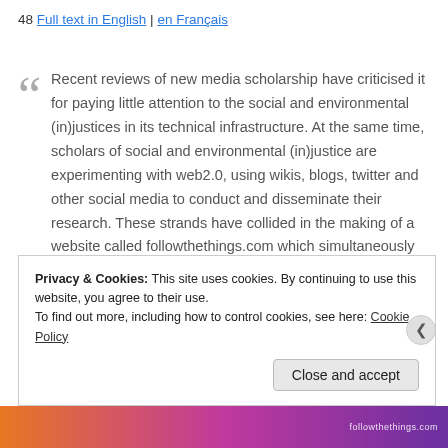48 Full text in English | en Français
Recent reviews of new media scholarship have criticised it for paying little attention to the social and environmental (in)justices in its technical infrastructure. At the same time, scholars of social and environmental (in)justice are experimenting with web2.0, using wikis, blogs, twitter and other social media to conduct and disseminate their research. These strands have collided in the making of a website called followthethings.com which simultaneously critiques the injustices embedded in everyday things, whilst also being made and maintained using everyday things, most notably a laptop, its software and the technical infrastructure of web2.0. Drawing on an
Privacy & Cookies: This site uses cookies. By continuing to use this website, you agree to their use. To find out more, including how to control cookies, see here: Cookie Policy
Close and accept